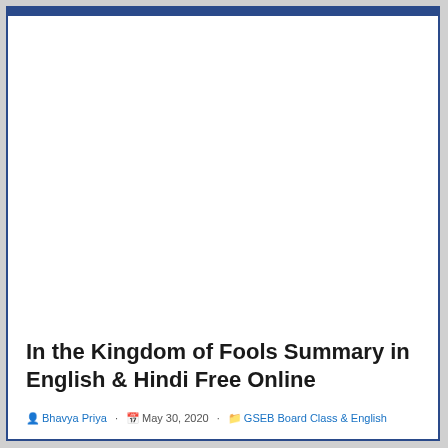In the Kingdom of Fools Summary in English & Hindi Free Online
Bhavya Priya · May 30, 2020 · GSEB Board Class & English